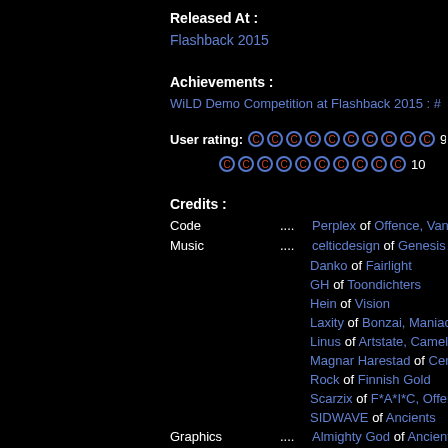Released At :
Flashback 2015
Achievements :
WiLD Demo Competition at Flashback 2015 : #
User rating: 9. / 10
Credits :
Code .... Perplex of Offence, Vandalism
Music .... celticdesign of Genesis Project, Danko of Fairlight, GH of Toondichters, Hein of Vision, Laxity of Bonzai, Maniacs of N, Linus of Artstate, Camelot, Mu, Magnar Harestad of Censor De, Rock of Finnish Gold, Scarzix of F*A*I*C, Offence, SIDWAVE of Ancients
Graphics .... Almighty God of Ancients Pled, Vandalism News Staff, N3XU5 of Onslaught, Oxyron, Pal of F*A*I*C, Fairlight, Offe
Disk Cover .... Duce of Extend, Junkie of Doom Patrol, Extend, Almighty God of Ancients Ple